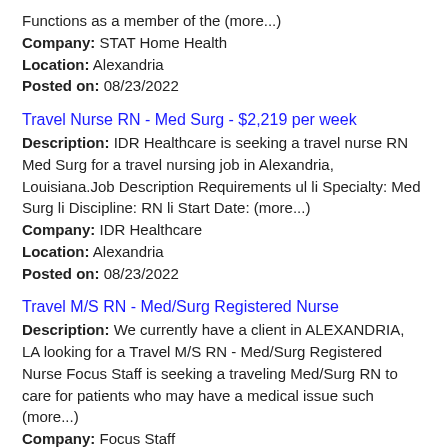Functions as a member of the (more...)
Company: STAT Home Health
Location: Alexandria
Posted on: 08/23/2022
Travel Nurse RN - Med Surg - $2,219 per week
Description: IDR Healthcare is seeking a travel nurse RN Med Surg for a travel nursing job in Alexandria, Louisiana.Job Description Requirements ul li Specialty: Med Surg li Discipline: RN li Start Date: (more...)
Company: IDR Healthcare
Location: Alexandria
Posted on: 08/23/2022
Travel M/S RN - Med/Surg Registered Nurse
Description: We currently have a client in ALEXANDRIA, LA looking for a Travel M/S RN - Med/Surg Registered Nurse Focus Staff is seeking a traveling Med/Surg RN to care for patients who may have a medical issue such (more...)
Company: Focus Staff
Location: Alexandria
Posted on: 08/23/2022
Restaurant Crewmember - Cook, Cashier, Customer Service